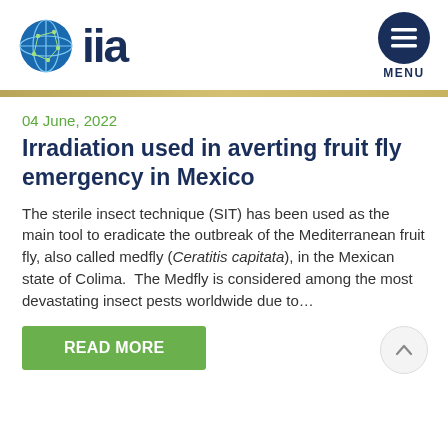iia — MENU
04 June, 2022
Irradiation used in averting fruit fly emergency in Mexico
The sterile insect technique (SIT) has been used as the main tool to eradicate the outbreak of the Mediterranean fruit fly, also called medfly (Ceratitis capitata), in the Mexican state of Colima.  The Medfly is considered among the most devastating insect pests worldwide due to…
READ MORE